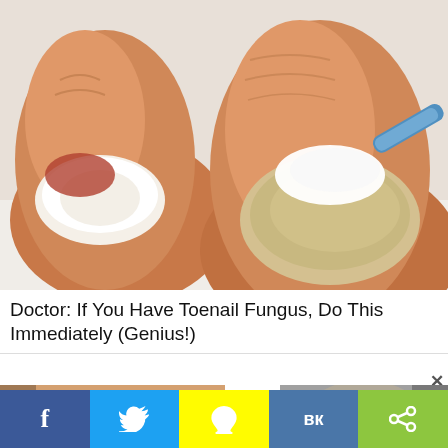[Figure (photo): Close-up medical illustration of toenails on two toes, one being treated with a white cream/substance applied via a blue instrument. The toenails appear diseased/fungal. Image has a painted/illustrated style.]
Doctor: If You Have Toenail Fungus, Do This Immediately (Genius!)
[Figure (photo): Thumbnail of teeth/smile showing dental health]
H er e...
[Figure (photo): Thumbnail of a person's scalp/hair being examined]
W ha
[Figure (infographic): Social sharing bar with Facebook, Twitter, Snapchat, VK, and share buttons]